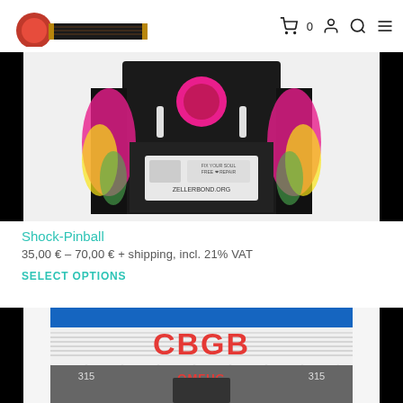Logo | cart 0 | account | search | menu
[Figure (photo): Product photo of Shock-Pinball artwork on black background — colorful pinball machine illustration with pink/yellow/green colors, sticker label visible]
Shock-Pinball
35,00 € – 70,00 € + shipping, incl. 21% VAT
SELECT OPTIONS
[Figure (photo): Product photo of CBGB venue illustration on black background — white and blue storefront with red CBGB text and OMFUG below, address 315 on both sides]